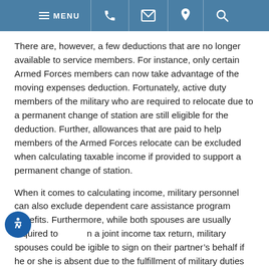MENU [phone] [email] [location] [search]
There are, however, a few deductions that are no longer available to service members. For instance, only certain Armed Forces members can now take advantage of the moving expenses deduction. Fortunately, active duty members of the military who are required to relocate due to a permanent change of station are still eligible for the deduction. Further, allowances that are paid to help members of the Armed Forces relocate can be excluded when calculating taxable income if provided to support a permanent change of station.
When it comes to calculating income, military personnel can also exclude dependent care assistance program benefits. Furthermore, while both spouses are usually required to sign on a joint income tax return, military spouses could be eligible to sign on their partner’s behalf if he or she is absent due to the fulfillment of military duties or conditions.
Call Today for a Free One-on-One Consultation